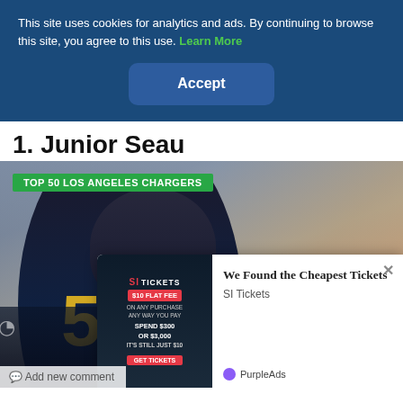This site uses cookies for analytics and ads. By continuing to browse this site, you agree to this use. Learn More
Accept
1. Junior Seau
[Figure (photo): Photo of Junior Seau wearing San Diego Chargers jersey #55 in dark navy uniform with gold accents, overlaid with green label 'TOP 50 LOS ANGELES CHARGERS', with an advertisement overlay for SI Tickets and a video player overlay]
We Found the Cheapest Tickets
SI Tickets
PurpleAds
Add new comment